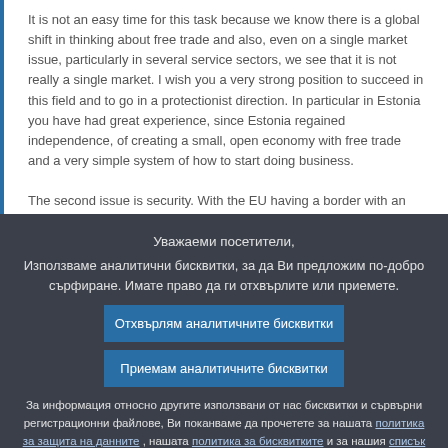It is not an easy time for this task because we know there is a global shift in thinking about free trade and also, even on a single market issue, particularly in several service sectors, we see that it is not really a single market. I wish you a very strong position to succeed in this field and to go in a protectionist direction. In particular in Estonia you have had great experience, since Estonia regained independence, of creating a small, open economy with free trade and a very simple system of how to start doing business.
The second issue is security. With the EU having a border with an aggressive neighbour, I think you know very well why you have such priorities as increasing
Уважаеми посетители,
Използваме аналитични бисквитки, за да Ви предложим по-добро сърфиране. Имате право да ги отхвърлите или приемете.
Отхвърлям аналитичните бисквитки
Приемам аналитичните бисквитки
За информация относно другите използвани от нас бисквитки и сървърни регистрационни файлове, Ви поканваме да прочетете за нашата политика за защита на данните , нашата политика за бисквитките и за нашия списък на бисквитките.